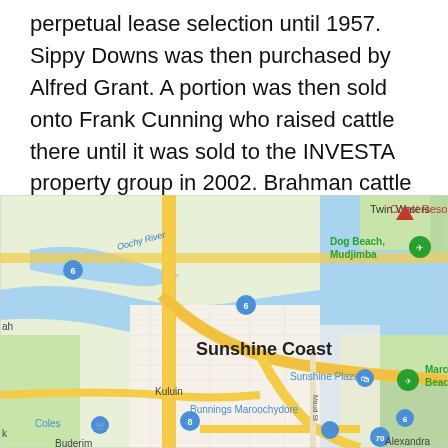perpetual lease selection until 1957. Sippy Downs was then purchased by Alfred Grant. A portion was then sold onto Frank Cunning who raised cattle there until it was sold to the INVESTA property group in 2002. Brahman cattle were still on the property as it was being surveyed for the housing development.
[Figure (map): Google Maps screenshot showing the Sunshine Coast area in Queensland, Australia. Visible labels include Twin Waters, Coast Resort, Dog Beach Mudjimba, Sunshine Coast (bold), Sunshine Plaza, Maroochydore Beach, Kuluin, Bunnings Maroochydore, Coles, Alexandra, Buderim. Roads shown with yellow/gold highway lines. Blue waterways visible including Oochy River area.]